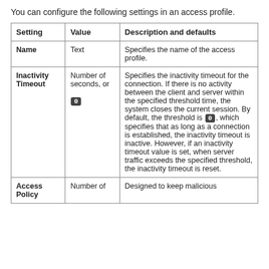You can configure the following settings in an access profile.
| Setting | Value | Description and defaults |
| --- | --- | --- |
| Name | Text | Specifies the name of the access profile. |
| Inactivity Timeout | Number of seconds, or 0 | Specifies the inactivity timeout for the connection. If there is no activity between the client and server within the specified threshold time, the system closes the current session. By default, the threshold is 0, which specifies that as long as a connection is established, the inactivity timeout is inactive. However, if an inactivity timeout value is set, when server traffic exceeds the specified threshold, the inactivity timeout is reset. |
| Access Policy | Number of... | Designed to keep malicious... |